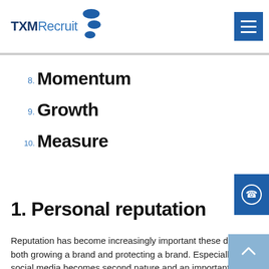TXMRecruit
8. Momentum
9. Growth
10. Measure
1. Personal reputation
Reputation has become increasingly important these days in both growing a brand and protecting a brand. Especially as social media becomes second nature and an important tool for